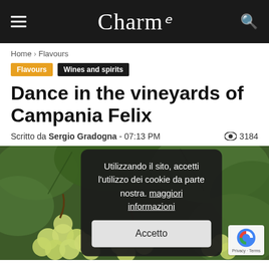Charm
Home › Flavours
Flavours   Wines and spirits
Dance in the vineyards of Campania Felix
Scritto da Sergio Gradogna - 07:13 PM  👁 3184
[Figure (photo): Close-up photo of green grapes on a vine with leaves in background, with a cookie consent overlay dialog in the center reading: Utilizzando il sito, accetti l'utilizzo dei cookie da parte nostra. maggiori informazioni. With an Accetto (Accept) button.]